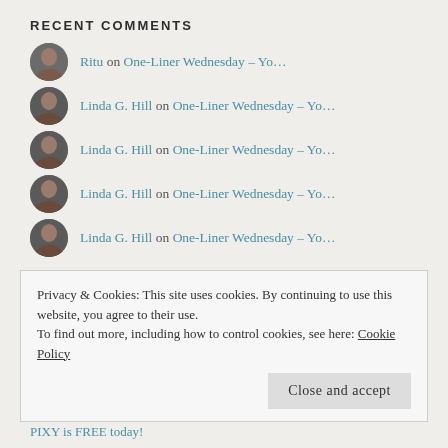RECENT COMMENTS
Ritu on One-Liner Wednesday – Yo…
Linda G. Hill on One-Liner Wednesday – Yo…
Linda G. Hill on One-Liner Wednesday – Yo…
Linda G. Hill on One-Liner Wednesday – Yo…
Linda G. Hill on One-Liner Wednesday – Yo…
BLOG STATS
499,632 hits
Privacy & Cookies: This site uses cookies. By continuing to use this website, you agree to their use. To find out more, including how to control cookies, see here: Cookie Policy
PIXY is FREE today!